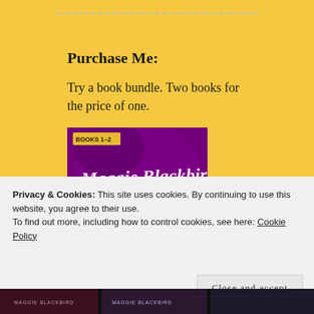Purchase Me:
Try a book bundle. Two books for the price of one.
[Figure (illustration): Book cover for Maggie Blackbird books 1-2, purple/magenta background with cursive title text and author name]
Privacy & Cookies: This site uses cookies. By continuing to use this website, you agree to their use.
To find out more, including how to control cookies, see here: Cookie Policy
Close and accept